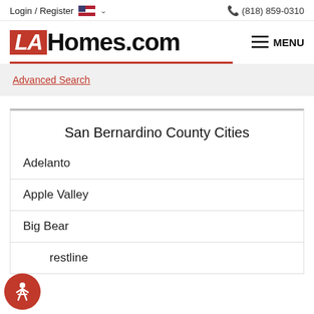Login / Register  (818) 859-0310
LAHomes.com
MENU
Advanced Search
San Bernardino County Cities
Adelanto
Apple Valley
Big Bear
Crestline